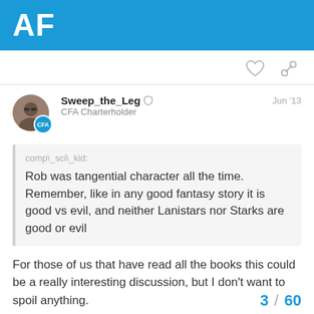AF
[Figure (other): Heart and link/chain icon buttons for post actions]
Sweep_the_Leg CFA Charterholder Jun '13
comp\_sci\_kid:
Rob was tangential character all the time. Remember, like in any good fantasy story it is good vs evil, and neither Lanistars nor Starks are good or evil
For those of us that have read all the books this could be a really interesting discussion, but I don't want to spoil anything.
Can't wait to see the rest of book 3 into next season. So much more awesomeness coming.
3 / 60